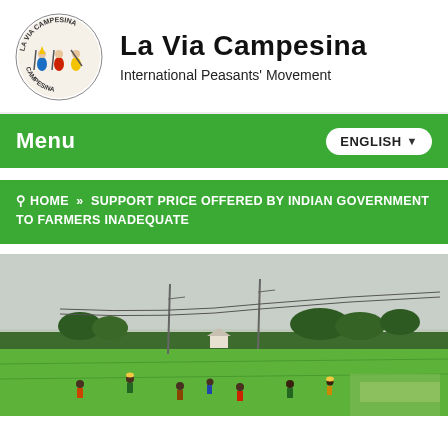[Figure (logo): La Via Campesina circular logo with illustrated farmers/peasants in colorful clothing]
La Via Campesina
International Peasants' Movement
Menu
ENGLISH ▾
🔍 HOME » SUPPORT PRICE OFFERED BY INDIAN GOVERNMENT TO FARMERS INADEQUATE
[Figure (photo): Aerial/wide landscape photograph of green rice paddy fields with farmers working in them, trees and utility poles in background, overcast sky]